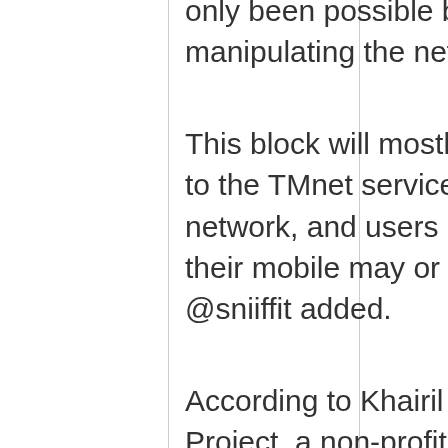only been possible by filtering the packets and manipulating the network traffic," he said.
This block will mostly affect those who are tied to the TMnet service or Telekom Malaysia's network, and users accessing the page via their mobile may or may not be affected, @sniiffit added.
According to Khairil Yusof, cofounder of Sinar Project, a non-profit organisation which uses open source technology and ideas to track and measure corruption, this is a similar filtering technique with the one deployed during Malaysia's 13th General Election (GE13) in May last year.
“According to our tests, it’s the same